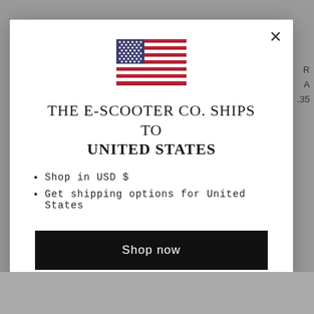[Figure (illustration): US flag SVG illustration centered in modal dialog]
THE E-SCOOTER CO. SHIPS TO UNITED STATES
Shop in USD $
Get shipping options for United States
Shop now
Change shipping country